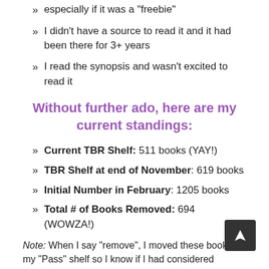especially if it was a "freebie"
I didn't have a source to read it and it had been there for 3+ years
I read the synopsis and wasn't excited to read it
Without further ado, here are my current standings:
Current TBR Shelf: 511 books (YAY!)
TBR Shelf at end of November: 619 books
Initial Number in February: 1205 books
Total # of Books Removed: 694 (WOWZA!)
Note: When I say “remove”, I moved these books to my “Pass” shelf so I know if I had considered reading them at some point in case I ever revisit them.
For 2018, I’d love to get that number below 500 but who